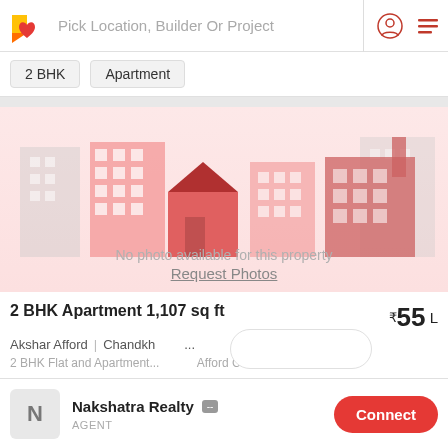[Figure (screenshot): App header with logo, search bar, user icon and menu icon]
Pick Location, Builder Or Project
2 BHK
Apartment
[Figure (illustration): No photo available placeholder with illustration of buildings in red/pink tones. Text: No photo available for this property. Request Photos.]
2 BHK Apartment 1,107 sq ft
₹55 L
Akshar Afford  |  Chandkh...
2 BHK Flat and Apartment...  Afford Chandh...  More
Nakshatra Realty  --
AGENT
Connect